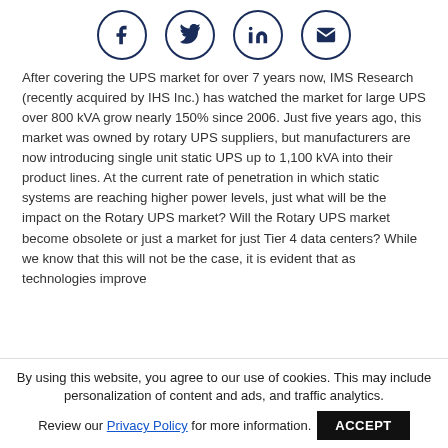[Figure (other): Social media share icons: Facebook, Twitter, LinkedIn, Email — circular outlined icons in navy blue]
After covering the UPS market for over 7 years now, IMS Research (recently acquired by IHS Inc.) has watched the market for large UPS over 800 kVA grow nearly 150% since 2006. Just five years ago, this market was owned by rotary UPS suppliers, but manufacturers are now introducing single unit static UPS up to 1,100 kVA into their product lines. At the current rate of penetration in which static systems are reaching higher power levels, just what will be the impact on the Rotary UPS market? Will the Rotary UPS market become obsolete or just a market for just Tier 4 data centers? While we know that this will not be the case, it is evident that as technologies improve
By using this website, you agree to our use of cookies. This may include personalization of content and ads, and traffic analytics.
Review our Privacy Policy for more information.